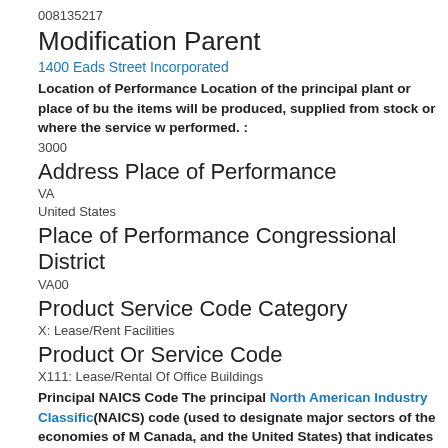008135217
Modification Parent
1400 Eads Street Incorporated
Location of Performance Location of the principal plant or place of business where the items will be produced, supplied from stock or where the service will be performed. :
3000
Address Place of Performance
VA
United States
Place of Performance Congressional District
VA00
Product Service Code Category
X: Lease/Rent Facilities
Product Or Service Code
X111: Lease/Rental Of Office Buildings
Principal NAICS Code The principal North American Industry Classification System (NAICS) code (used to designate major sectors of the economies of Mexico, Canada, and the United States) that indicates the industry in which the company does business. :
531120
GFE GFP